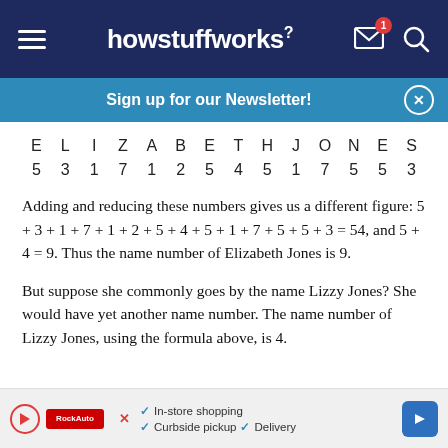howstuffworks
Sign up for our Newsletter!
| E | L | I | Z | A | B | E | T | H | J | O | N | E | S |
| --- | --- | --- | --- | --- | --- | --- | --- | --- | --- | --- | --- | --- | --- |
| 5 | 3 | 1 | 7 | 1 | 2 | 5 | 4 | 5 | 1 | 7 | 5 | 5 | 3 |
Adding and reducing these numbers gives us a different figure: 5 + 3 + 1 + 7 + 1 + 2 + 5 + 4 + 5 + 1 + 7 + 5 + 5 + 3 = 54, and 5 + 4 = 9. Thus the name number of Elizabeth Jones is 9.
But suppose she commonly goes by the name Lizzy Jones? She would have yet another name number. The name number of Lizzy Jones, using the formula above, is 4.